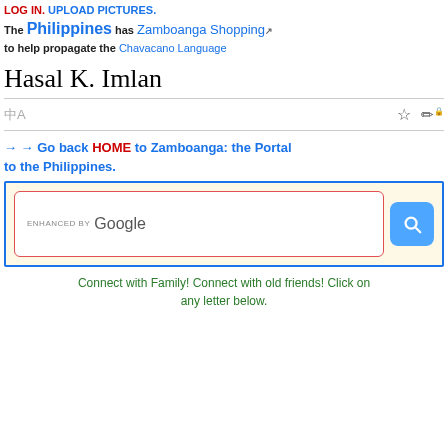LOG IN. UPLOAD PICTURES.
The Philippines has Zamboanga Shopping [external link] to help propagate the Chavacano Language
Hasal K. Imlan
→ → Go back HOME to Zamboanga: the Portal to the Philippines.
[Figure (screenshot): Google custom search box with red border on yellow background, blue search button with magnifying glass icon]
Connect with Family! Connect with old friends! Click on any letter below.